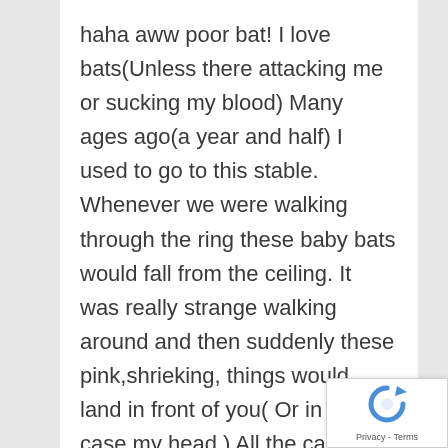haha aww poor bat! I love bats(Unless there attacking me or sucking my blood) Many ages ago(a year and half) I used to go to this stable. Whenever we were walking through the ring these baby bats would fall from the ceiling. It was really strange walking around and then suddenly these pink,shrieking, things would land in front of you( Or in my case my head ) All the cause of bad parenting I suppose.
[Figure (other): reCAPTCHA badge with spinning arrow icon and Privacy - Terms links]